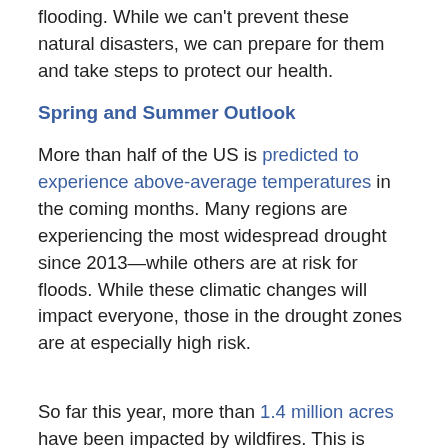flooding. While we can't prevent these natural disasters, we can prepare for them and take steps to protect our health.
Spring and Summer Outlook
More than half of the US is predicted to experience above-average temperatures in the coming months. Many regions are experiencing the most widespread drought since 2013—while others are at risk for floods. While these climatic changes will impact everyone, those in the drought zones are at especially high risk.
So far this year, more than 1.4 million acres have been impacted by wildfires. This is…